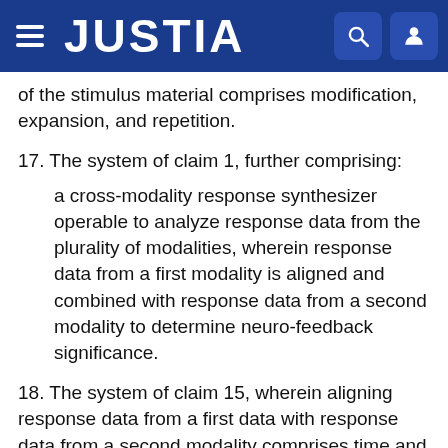JUSTIA
of the stimulus material comprises modification, expansion, and repetition.
17. The system of claim 1, further comprising:
a cross-modality response synthesizer operable to analyze response data from the plurality of modalities, wherein response data from a first modality is aligned and combined with response data from a second modality to determine neuro-feedback significance.
18. The system of claim 15, wherein aligning response data from a first data with response data from a second modality comprises time and phase shifting. wherein the plurality of modalities include Electroencephalography (EEG), Electrooculography (EOG), and Galvanic Skin Response (GSR).